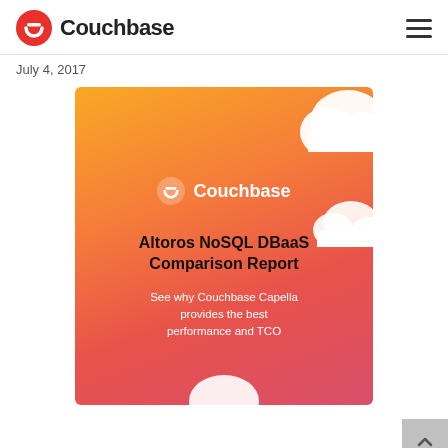Couchbase
July 4, 2017
[Figure (illustration): Couchbase promotional card with gradient orange-to-pink background, white cloud shapes, Couchbase logo, title 'Altoros NoSQL DBaaS Comparison Report', subtitle 'See why Couchbase Capella provides the best performance and TCO']